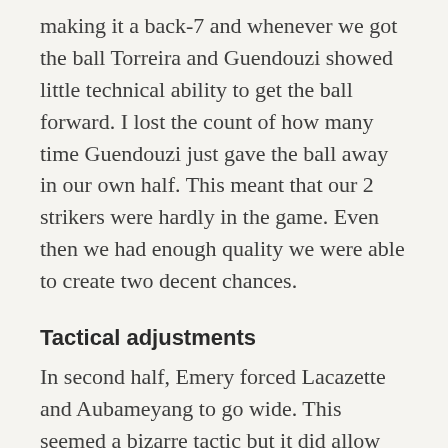making it a back-7 and whenever we got the ball Torreira and Guendouzi showed little technical ability to get the ball forward. I lost the count of how many time Guendouzi just gave the ball away in our own half. This meant that our 2 strikers were hardly in the game. Even then we had enough quality we were able to create two decent chances.
Tactical adjustments
In second half, Emery forced Lacazette and Aubameyang to go wide. This seemed a bizarre tactic but it did allow Ozil to get involved in the game more which resulted in more open game and allowing Arsenal to enjoy their best phase of the night. But even